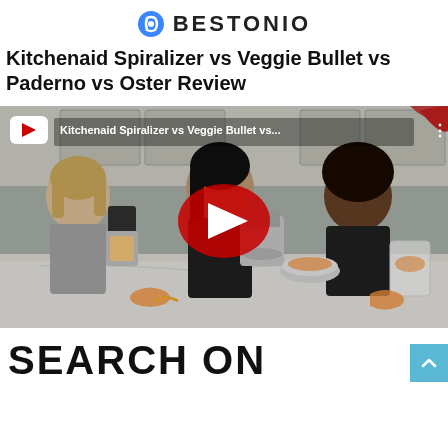BESTONIO
Kitchenaid Spiralizer vs Veggie Bullet vs Paderno vs Oster Review
[Figure (screenshot): YouTube video thumbnail showing three women in a kitchen with various spiralizer appliances on the counter, with a YouTube play button overlay. Video title: Kitchenaid Spiralizer vs Veggie Bullet vs...]
SEARCH ON